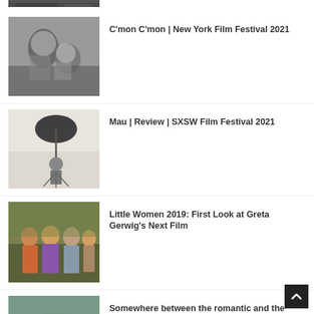[Figure (photo): Cropped top portion of a dark photo, partially visible]
C’mon C’mon | New York Film Festival 2021
[Figure (photo): Black and white photo of two people close together]
Mau | Review | SXSW Film Festival 2021
[Figure (photo): Photo of a photography studio umbrella light stand setup with a person in the background]
Little Women 2019: First Look at Greta Gerwig’s Next Film
[Figure (photo): Photo of women in period costume outdoors]
Somewhere between the romantic and the platonic: why Jo and Laurie were destined for tragedy
[Figure (photo): Photo of two young people in period/rural costume in a green landscape]